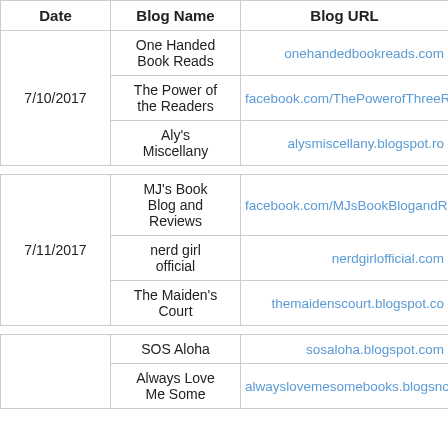| Date | Blog Name | Blog URL |
| --- | --- | --- |
| 7/10/2017 | One Handed Book Reads | onehandedbookreads.com |
| 7/10/2017 | The Power of the Readers | facebook.com/ThePowerofThreeR… |
| 7/10/2017 | Aly's Miscellany | alysmiscellany.blogspot.ro |
| 7/11/2017 | MJ's Book Blog and Reviews | facebook.com/MJsBookBlogandR… |
| 7/11/2017 | nerd girl official | nerdgirlofficial.com |
| 7/11/2017 | The Maiden's Court | themaidenscourt.blogspot.co… |
|  | SOS Aloha | sosaloha.blogspot.com |
|  | Always Love Me Some | alwayslovemesomebooks.blogsn… |